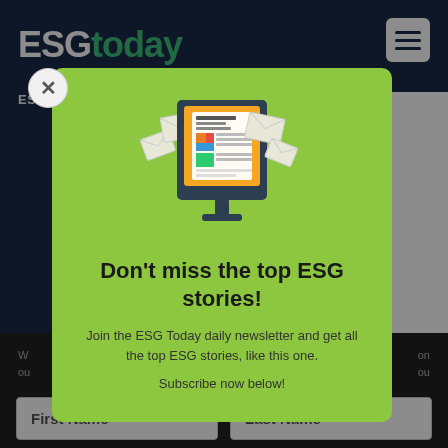[Figure (screenshot): Background of ESG Today website with dark blue header showing ESG today logo and hamburger menu icon, with sidebar content and a dark bottom bar with First Name and Last Name input fields.]
[Figure (illustration): Newsletter signup popup modal with green background. Contains an illustration of a computer monitor displaying a newsletter with envelope icons flying around it.]
Don't miss the top ESG stories!
Join the ESG Today daily newsletter and get all the top ESG stories, like this one.
Subscribe now below!
First Name
Last Name